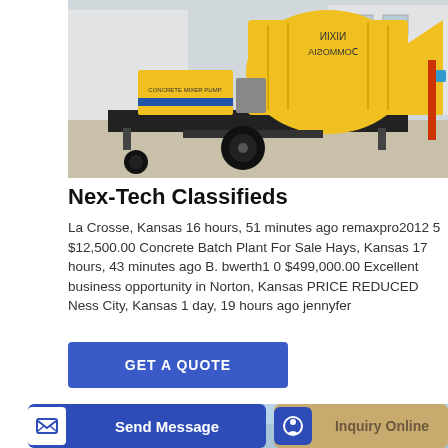[Figure (photo): Yellow concrete mixer pump machine on a trailer with black frame and large tire, parked in a yard. Text on machine reads CONCRETE MIXER PUMP. Another teal/blue machine partially visible in background.]
Nex-Tech Classifieds
La Crosse, Kansas 16 hours, 51 minutes ago remaxpro2012 5 $12,500.00 Concrete Batch Plant For Sale Hays, Kansas 17 hours, 43 minutes ago B. bwerth1 0 $499,000.00 Excellent business opportunity in Norton, Kansas PRICE REDUCED Ness City, Kansas 1 day, 19 hours ago jennyfer
[Figure (other): GET A QUOTE button, blue rectangle]
[Figure (photo): Partial view of blue industrial pump or machinery at bottom of page]
[Figure (other): Bottom bar with Send Message button (blue) and Inquiry Online button (tan/gold)]